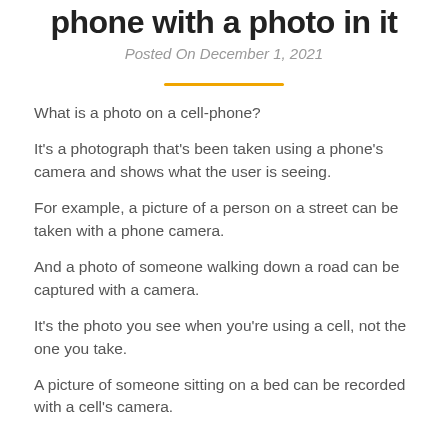phone with a photo in it
Posted On December 1, 2021
What is a photo on a cell-phone?
It's a photograph that's been taken using a phone's camera and shows what the user is seeing.
For example, a picture of a person on a street can be taken with a phone camera.
And a photo of someone walking down a road can be captured with a camera.
It's the photo you see when you're using a cell, not the one you take.
A picture of someone sitting on a bed can be recorded with a cell's camera.